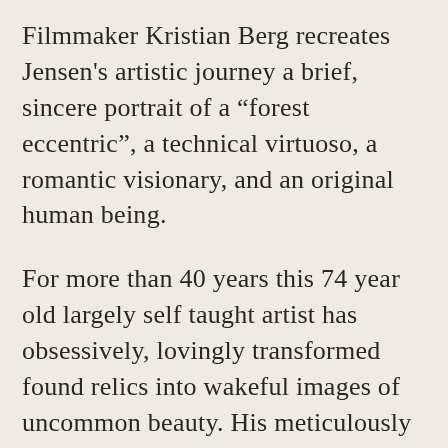Filmmaker Kristian Berg recreates Jensen's artistic journey a brief, sincere portrait of a “forest eccentric”, a technical virtuoso, a romantic visionary, and an original human being.
For more than 40 years this 74 year old largely self taught artist has obsessively, lovingly transformed found relics into wakeful images of uncommon beauty. His meticulously rendered, often monumental graphite drawings and stone lithographs compel the viewer to see anew to journey beyond ordinary context to a deeper, more